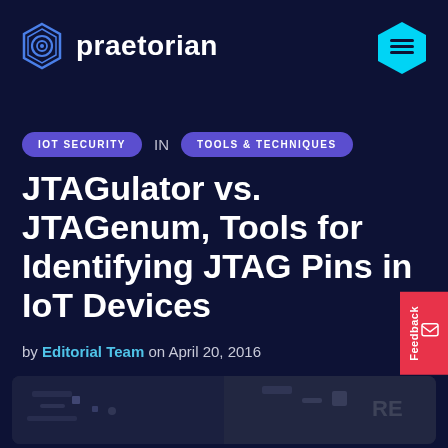praetorian
IOT SECURITY IN TOOLS & TECHNIQUES
JTAGulator vs. JTAGenum, Tools for Identifying JTAG Pins in IoT Devices
by Editorial Team on April 20, 2016
[Figure (photo): Close-up photo of circuit board / IoT hardware components]